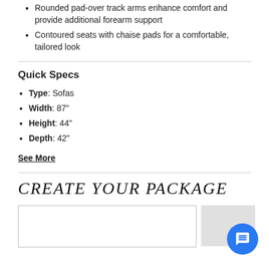Rounded pad-over track arms enhance comfort and provide additional forearm support
Contoured seats with chaise pads for a comfortable, tailored look
Quick Specs
Type: Sofas
Width: 87"
Height: 44"
Depth: 42"
See More
CREATE YOUR PACKAGE
[Figure (other): Two rectangular boxes side by side representing package creation area; left box is white with border, right box is gray]